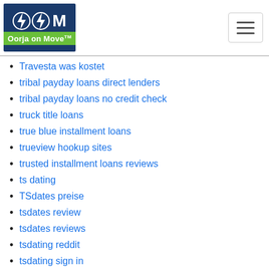Oorja on Move
Travesta was kostet
tribal payday loans direct lenders
tribal payday loans no credit check
truck title loans
true blue installment loans
trueview hookup sites
trusted installment loans reviews
ts dating
TSdates preise
tsdates review
tsdates reviews
tsdating reddit
tsdating sign in
Twoo kosten
Twoo reviews
UberHorny review